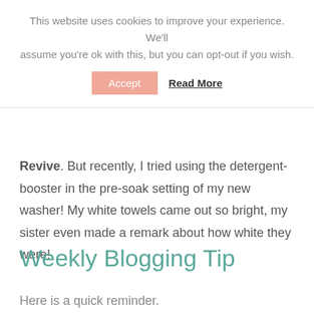This website uses cookies to improve your experience. We'll assume you're ok with this, but you can opt-out if you wish.
Accept  Read More
Revive. But recently, I tried using the detergent-booster in the pre-soak setting of my new washer! My white towels came out so bright, my sister even made a remark about how white they were!
Weekly Blogging Tip
Here is a quick reminder.